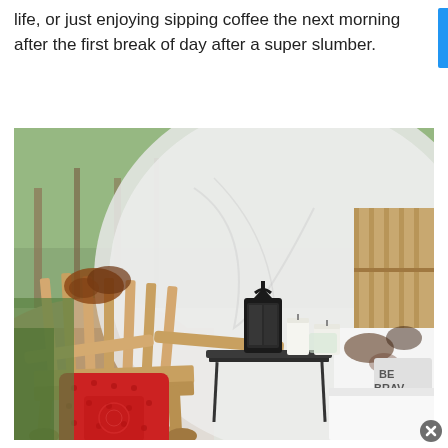life, or just enjoying sipping coffee the next morning after the first break of day after a super slumber.
[Figure (photo): Outdoor glamping setup with a wooden Adirondack-style chair with a red bandana cushion in the foreground, a large white tent/bubble structure in the background, a small black metal side table with a black lantern and white candles, a white bedding area with cowhide pillows and a 'BE BRAVE' pillow, surrounded by trees and natural ground cover.]